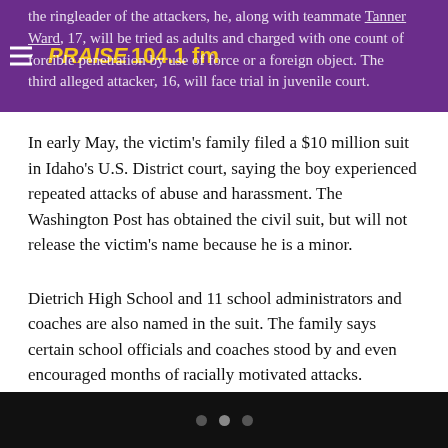PRAISE 104.1 fm
the ringleader of the attackers, he, along with teammate Tanner Ward, 17, will be tried as adults and charged with one count of forcible penetration by use of force or a foreign object. The third alleged attacker, 16, will face trial in juvenile court.
In early May, the victim’s family filed a $10 million suit in Idaho’s U.S. District court, saying the boy experienced repeated attacks of abuse and harassment. The Washington Post has obtained the civil suit, but will not release the victim’s name because he is a minor.
Dietrich High School and 11 school administrators and coaches are also named in the suit. The family says certain school officials and coaches stood by and even encouraged months of racially motivated attacks.